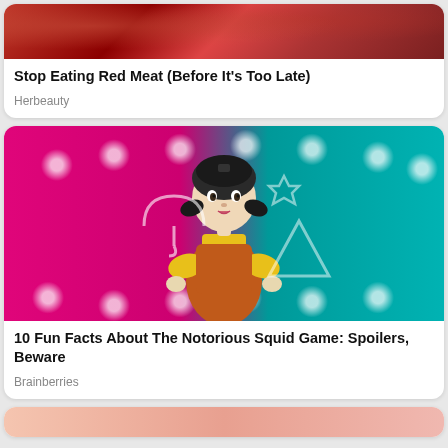[Figure (photo): Close-up photo of cooked red meat with dark reddish-brown seared surface]
Stop Eating Red Meat (Before It's Too Late)
Herbeauty
[Figure (photo): Squid Game doll character - large animatronic girl doll with dark hair in pigtails, wearing yellow shirt and orange dress, standing against pink and teal background with geometric symbols]
10 Fun Facts About The Notorious Squid Game: Spoilers, Beware
Brainberries
[Figure (photo): Partial view of another card image at the bottom]